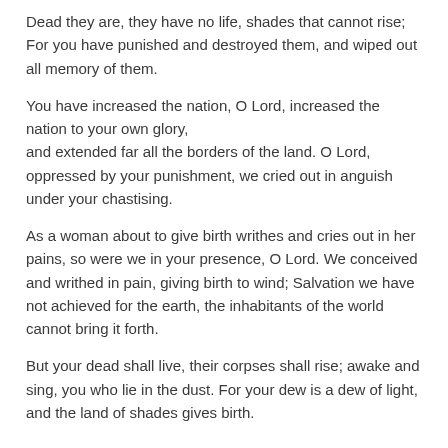Dead they are, they have no life, shades that cannot rise; For you have punished and destroyed them, and wiped out all memory of them.
You have increased the nation, O Lord, increased the nation to your own glory, and extended far all the borders of the land. O Lord, oppressed by your punishment, we cried out in anguish under your chastising.
As a woman about to give birth writhes and cries out in her pains, so were we in your presence, O Lord. We conceived and writhed in pain, giving birth to wind; Salvation we have not achieved for the earth, the inhabitants of the world cannot bring it forth.
But your dead shall live, their corpses shall rise; awake and sing, you who lie in the dust. For your dew is a dew of light, and the land of shades gives birth.